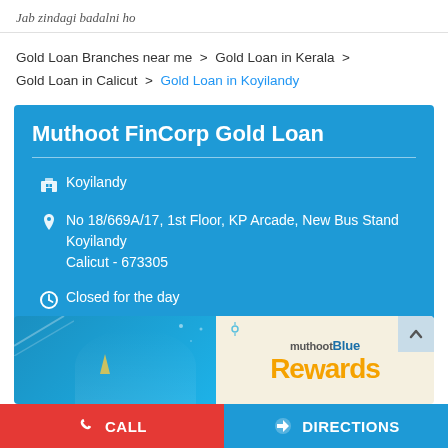Jab zindagi badalni ho
Gold Loan Branches near me > Gold Loan in Kerala > Gold Loan in Calicut > Gold Loan in Koyilandy
Muthoot FinCorp Gold Loan
Koyilandy
No 18/669A/17, 1st Floor, KP Arcade, New Bus Stand Koyilandy
Calicut - 673305
Closed for the day
[Figure (photo): Muthoot Blue Rewards banner advertisement with woman smiling, decorative elements, and muthootBlue Rewards text]
CALL
DIRECTIONS